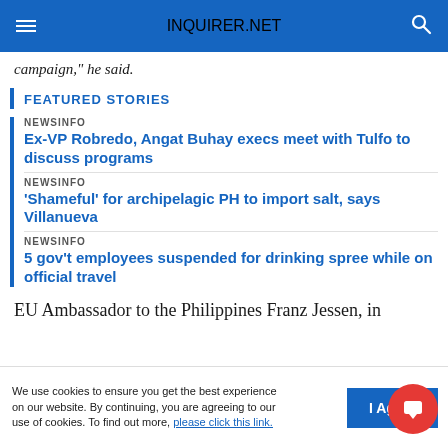INQUIRER.NET
campaign," he said.
FEATURED STORIES
NEWSINFO
Ex-VP Robredo, Angat Buhay execs meet with Tulfo to discuss programs
NEWSINFO
'Shameful' for archipelagic PH to import salt, says Villanueva
NEWSINFO
5 gov't employees suspended for drinking spree while on official travel
EU Ambassador to the Philippines Franz Jessen, in
We use cookies to ensure you get the best experience on our website. By continuing, you are agreeing to our use of cookies. To find out more, please click this link.